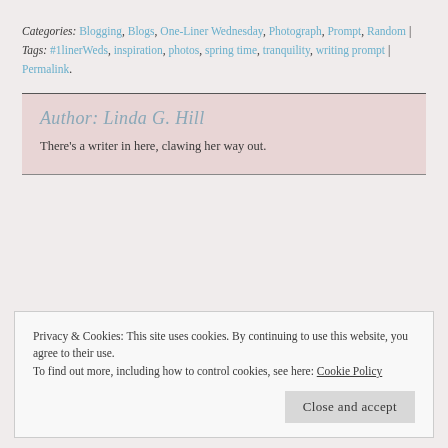Categories: Blogging, Blogs, One-Liner Wednesday, Photograph, Prompt, Random | Tags: #1linerWeds, inspiration, photos, spring time, tranquility, writing prompt | Permalink.
Author: Linda G. Hill — There's a writer in here, clawing her way out.
Privacy & Cookies: This site uses cookies. By continuing to use this website, you agree to their use. To find out more, including how to control cookies, see here: Cookie Policy